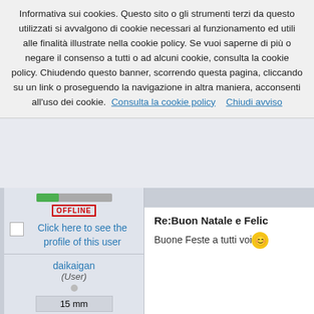Informativa sui cookies. Questo sito o gli strumenti terzi da questo utilizzati si avvalgono di cookie necessari al funzionamento ed utili alle finalità illustrate nella cookie policy. Se vuoi saperne di più o negare il consenso a tutti o ad alcuni cookie, consulta la cookie policy. Chiudendo questo banner, scorrendo questa pagina, cliccando su un link o proseguendo la navigazione in altra maniera, acconsenti all'uso dei cookie.  Consulta la cookie policy  Chiudi avviso
[Figure (screenshot): User status area with progress bar and OFFLINE badge]
Click here to see the profile of this user
daikaigan (User)
15 mm
Posts: 347
Re:Buon Natale e Felic
Buone Feste a tutti voi 😊